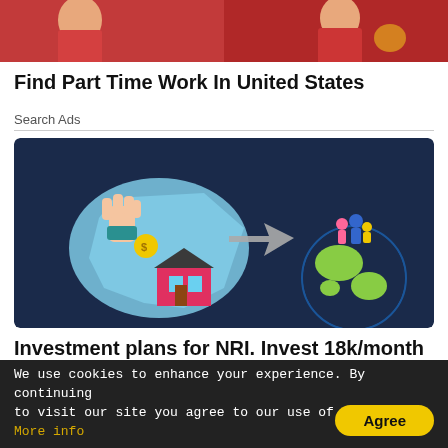[Figure (photo): Top portion of a photo showing people in red clothing/uniforms, cropped at the top of the page]
Find Part Time Work In United States
Search Ads
[Figure (illustration): Illustration on dark blue background showing a hand dropping a coin into a red house on a map of India (light blue), with a large arrow pointing to a globe with a family standing on top — representing NRI investment/remittance concept]
Investment plans for NRI. Invest 18k/month & Get Monthly Pension of 2
We use cookies to enhance your experience. By continuing to visit our site you agree to our use of cookies. More info
Agree